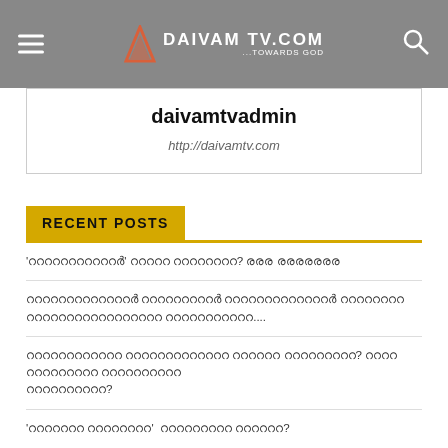DAIVAMTV.COM
daivamtvadmin
http://daivamtv.com
RECENT POSTS
'ററററററററററർ ററററററററററർ' ററററർ ററററററർ? രരര രരരരരരര
ററററററററററരരർ ററററററരരർ ററററററററററരരർ ററററരരർ ്്ററററററലലലലലലലലലലലലലലലലലലലലലലലലലലലലലലലലലലലലലലലലലലലലലലലലലലലലലലലലലലലലലലലലലലലലലലലലലലലലലലലലലലലലലലലലലലലലലലലലലലലലലലലലലലലലലലലലലലലലലലലലലലലലലലലലലലലലലലലലലലലലലലലലലലലലലലലലലലലലലലലലലലലലലലലലലലലലലലലലലലലലലലലലലലലലലലലലലലലലലലലലലലലലലലലലലലലലലലലലലലലലലലലലലലലലലലലലലലലലലലലലലലലലലലललललललललललललललललललललललललललललललललललललललललललललललललललललललललललललललललललललललललललललललललललललललललललललललललललललललललललललललललललललललललललललललललललललललललललललललललललललललललललललललललललललललललललललललललललललललललललललललललललललललललललललललललललललललललललललललललललललललललललललललललललललललललललललललललललललललललललललललललललललललललललललललललललललललललललललललललललललललललललललललललललललललललललललललललललललललललललललललललललललललललललललललललललललललललललललललललललललललललललललललललललललललललललललललललललललललललललललललललललललललललललललललललललललललललललललललललललललललललललललललललललललललललललललललललललललललललललललललललललललललललललललललललललललललललललललललललललललललललललललललललललललललललललललललललललललललललललललललललललललललललललललललललललललललललललललललललललललललललललललललललललललललललललललललललललललललललललललललललललललललललललललललललललललललललललललललललललललललललललललललललललललललललललललललललललललललललललललललललललललललललललललललललललललललललललललललललललललललललललललललललललललललललललललललललललललललललललललललललललललललललललललललललललललललललललललललललललललललललललललललललललललललललललललललललललललललललललललललललललललललललललललललललललललललललललललललललललललललललललललललललललललललललललललललललललललललललललललललललललललललललललललललललललललललललललललललललललललललललललललललललललललललललललललललललललललललललललललललललललललललललललललललललललललललललललललललललललललललललललललललललललललललललललललललललललललललललललललललललललललललललललललललललललललललललललललललललललललललललललललललललललललललललललललललललललललललललललललललललललललललललललललललललललललललललललललललललललललललललललललललललललललललललललललललललललललललललललललललललललललललललललललललललललललललललललललललललललललललललललललललललललललललललललललललललललललललललललललललललललललललललललललललललललललललललललललललललललललललललललललललललललललललललललललललललललललललललललललललललललललललललललललललललललललललललललललललललललललललललललललललललललललललललललललललललललललललललललललललललललललललललललललललललललललललललललललललललललललललललललललललललललललललललललललललललललललललललललललललललललललललललललललललललललललललललललललललललललललललललललललललललललललललललललललललललललललललललललललललललललललललललललललललललललललललललललललललललललललललललललललललललललललललललललललललललललललललललललललललललललललललललललललललललललललललललललललललललललललललललललललललललललललललललललललललललललललललललललललललललललललललललललललललललललललललललललललललललललललललललललललललललललललललललललललललललललललललललललललललललललललललललललललललललललललललललललललललललललललललललललललललललललललललललललललललललललललललललललललललललललललललललललललललललललललललललललललललललललललललललललललललललललललललललललललललललललललललललललललललललललललललललललललललललललललललललललललललललललललललललललललललललललललललललललललललललललललललललललललललललललललललललललललललललललललललललललललललललललललललललललललललललललललललललललललललललललललललललललललललललललललललललललललललललललललललललललललललललललललललललललललललललललललललललललललललललललललललललललललललललललललललललललललललललललललललललललललललललललललललललललललललललललललललललललललललललललललललललललललललललललललललललललललललललललललललललललललललललललललललललललललललललललललललललललललललललललललललललललललललललललललललललललललललललललललललललललललललललललललललललललललललललललललललललललललललललललललललललललललललललललललललललललललललललललललललललललललललललललललललललललललललललललललललललललललललललललललललललललललललललललललललललललललललललललललललललललललललललललललललललललललललललललललललललललललललललललललललललललललललललललललललललललललललललललललललललललललललललललललललललललललललललललललललललललललललललललललललललललललललललललललललललललललललललललललललललललललललललललललललललललललललललललललललललललललललललललललललललललललललललललललललललललललललललललललललललललललललललललललललललललललललललललललललललललललललललललललललललललललललललललललललललललललललललललललललललललललललललललललललललललललललललललललललललललललललललललललललललललललललललललललललललललललललललललललललललललललललललललललललललललललललललललललललललललललललललललललललललललललललललललललललललललललललललललललललललललललललललललललललललललललललललललललललललललललललललललललललललललललललललललललललललललललललललललललललललललललललललललललललललललललललललललललललललललललललललललललललललललललललललललललललललललललललललललललललललललललललललललललललललललललललललललललललललललललललललललललललललललललललललललललललललललललललललललललललललललललललललललललललललललललललललललललललललललललललललललललललललललललललललललललललललललललललललललललललललललललललललललललललललललललललललललललललललललललललललललललललललललललललललललललललललललललललललललललललललललललललललललललललललललललललललललललललललललललललललललललललललललललललललललललललललललललललललललललललललललललललललललललललललललललललललललललललललललललललललललललललललललललललललललललललललललललललललललललललललललललललललललललललललललललललललललललललललललललललललललललललललललललललललललललललललललललललललललललललललललललललललललललललललललललललललललललललललललललललललललललललललललललललललललललललललललललललललललललललललललललललललललललललललललललललललललललललललललललललललललललललललललललललललललललललललललललललललललललललललललललललललललललललललललललललललललललललललललललललललललललललललललललललललललललललललललललललललललललललललललललललललललललललललललललललललललललललललललललललललललललललललललललललललललललललललललललललललललललललललललललललललललललललललललललललललललललललललललललललललललललललललललललललललललललललललललललललललललललललललललललललललललललललललललललललललललललललललललललललललललललललललललललललललललललललललललललललललललललललललललललललललललललललललललललललललललललललललललललललललललललललललललललललललललललललललललललललललललललललललललललललललललललललललललललललललललललललललललललललललललललललललललललललललललललललललललललललललललललललललललललललललललललललललललललललललललललललललललललललललललललललललललललललललललललललललललललललललललललललललललललललललललललललललललललललललललललललललललललललललललललललललललललललललललललललललललललललललललललललललललललललललललललललललललललललललललललललललललललललललललललललललललललललललललललललललललललललललललललललललललललललललललललललललललललललललललललललललललललललललललललललललललललललललललललललललललललललललललललललललललललललललललललललललललललललललललललललललललललललललललललललललललललललललललललललललललललललललललललललललललललललललललललललललललललललललललललललललललललललललललललललललललललललललललललललललललललललललललललललललललललललललललललललललललललललललललललललललललललललललललललललललललललललललललललललललललललललललललललललललललललललललललललललललललललललललललललललललललललललललललललललललललललललललललललललललललललललललललललललललललललललललललललललललललललललललललललललललललललललललललललललललललललललललललललललललललललललललललललललललललललललललललललललललललललललललललललललललललललललललललललललललललललललललललललललललललललललललललललललललललललललललललललललललललललललललललललललललललललललललललललललललललललललललललललललललललललललललललललललललललललललललललललललललललललललललललललललललललललललललललललललललललललललललललललललललललललललललललललललललललललललललललललललललललललललललललललललललललललललललललललललललललललललललललललललललललललललललललललललललललललललललललललललललललललललललललललललललललललललललललललललललललललललललललललललललललललललललललललललललललललललललललललललललललललललललललललललललललललललललललललललललललललललललललललललललललललललललललललललललललललललललललललललललललललललललललललललललललललललललललललललललललललललललललललललललललललललललललललललललललललललललललललललललललललललललललललललललललललललललललललललललललललललललललललललललललललललललललललललललललललललललललललललललललललललललललललललललललललललललललललललललललललललललललललललललललललललललललललललललललललललललललललललललललललललललललललललललललललललललललललललललललललललललललललललललललललललललललललललललललललललललललललललललललललललललललललललललललललललललललललललललललललललललललललललललललललललललललललललललललललललललललललललललललललललललललललललललललललललललललललललललललललललललललललललललललललललललललललललललललललललललललललललललललललललललललललललललललललललललललललललललललललललललललललललललललललललललललललललललललललललललललललललललललललललललललललललललललललललललललललललललललललललललललललललललललललललललललललललललललललललललललललललललललललललललललललललललललललललललललललललललललललललललललललललललललललललललललललललललललललललललललललललललललललललललललललललललललललललललललललललललललललललललललललललललललललललललललललललललललललललललललललललललललललललललललललललललललललललललललललललललललललललललललललललललललललललललललललललललललललललललललललललललललललललललललललललललललललललललललललललललललललललललललललललललललललललललललललललललललललललललललललललललललललललललललललललललललललललललललललललललललललललललललललललललललललललललललललललललललललललललललललललललललललललललललललललललललललललललललललललललललललललललललललललललललललललललललललललललललललललललललललललललललललललललललललललललललललललललललललललललललललललललललललललललललललललललललललललललललललललललललललललललललललललललललललललललललललललललललललललललललललललललललललललललललललललललललललललललललललललललललललललललललललललललललललललललललललललललललललललललललललललललललललललललललललललललललललललललललललललललललललललललललललललललललललललललललललललललललललललललललललललललललललललललललललललललललललललललललललललललललललललललललललललललललललललललललललललललललललललललललललललललललललललललललललललललललललललललललललललललललललललललललललललललललललललललललललललललललललललललललललललललललललललललललललललललललललललललललललललललललललललललललललललललललललललललललललललललललललललललललललललललललललललललललललललललललललललललललललललललललललललललललललललललललललललललललललललललललललललललललललललललललललललललललललललललललललललललललललललललललललललललललललललललललललललललललललललललललललललललललललललललललललललललललललललललललललललललललललललललललललललललललललललललललललललललललललललललലലലലലലലലലലലലലലലലലലലലലലലലലലലലലലലലലലലലലലലലലലലലലലലലലലലലലലലലലലലലലലലലലലலலலலலலலலலலலலललலலललललललலலலலலலललலலललலலலலललலலலலலலலலலலலலலலலலലലඅ
ലലലലലലലലലലലലലലലലലലലലലലലലലലലലലലലലലലലലലലലലലലലലലലലലലലലലലലലലലലലലലലലലലലലലലലലലലലലലലലലലലലലലലലലലലലലലലലലലലലലലലലലലലലലലലലലലലലലലലലലലലലലലലലലലലലലലലലലലലലലലലലലലലലലലലലലലലലലലലലലലലലലലലലലലലലലലലലലലലലலலலலலலலலலலலலலலலலலலலலலலலலலலலலலலललலலலலலலலலலலலலலலலலலலலலலலலலலலலலललலலललலலலலலலலலலலலலललலலலலललலலலலலலலலललலலலலललலலலலலலலலலலலலலலலலலலललலலலலலலலலலலலலललலலலலலலலலலலலலலலலலललலலலலலலலலலலലലലലലലലലலலலலலலலலலலலலலலலலலலலலலலலலலலലലലലலலலலலலலலலலலலலலலலலலலலலலலலலலலலலலலலலலலலலலலலலலலலலலലലലലലലലലலலலலலலலலலலலலலலലലலலலலலலலலலலலலലലலலललललலலலலலலலலல
'ലലലലലലലലലലലലലലലലലലലലലലലലലലലലലലലലലലലലലലലലலலலலலலലലலலலலலலലലललலலലലലലலலலலலலலலTwo?